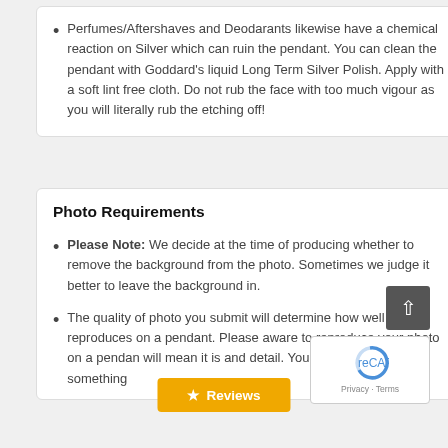Perfumes/Aftershaves and Deodarants likewise have a chemical reaction on Silver which can ruin the pendant. You can clean the pendant with Goddard's liquid Long Term Silver Polish. Apply with a soft lint free cloth. Do not rub the face with too much vigour as you will literally rub the etching off!
Photo Requirements
Please Note: We decide at the time of producing whether to remove the background from the photo. Sometimes we judge it better to leave the background in.
The quality of photo you submit will determine how well it reproduces on a pendant. Please aware to reproduce your photo on a pendant will mean it is and detail. You not get the sa ail on something